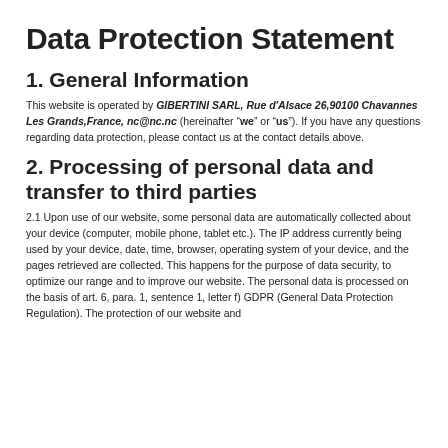Data Protection Statement
1. General Information
This website is operated by GIBERTINI SARL, Rue d'Alsace 26,90100 Chavannes Les Grands,France, nc@nc.nc (hereinafter “we” or “us”). If you have any questions regarding data protection, please contact us at the contact details above.
2. Processing of personal data and transfer to third parties
2.1 Upon use of our website, some personal data are automatically collected about your device (computer, mobile phone, tablet etc.). The IP address currently being used by your device, date, time, browser, operating system of your device, and the pages retrieved are collected. This happens for the purpose of data security, to optimize our range and to improve our website. The personal data is processed on the basis of art. 6, para. 1, sentence 1, letter f) GDPR (General Data Protection Regulation). The protection of our website and